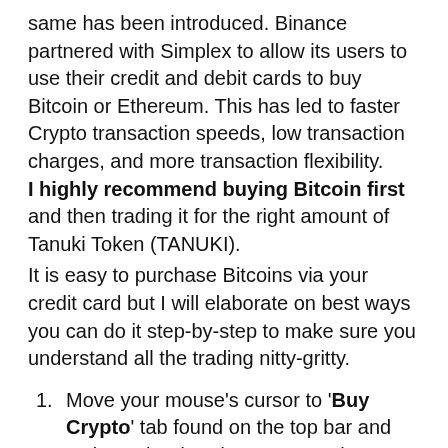same has been introduced. Binance partnered with Simplex to allow its users to use their credit and debit cards to buy Bitcoin or Ethereum. This has led to faster Crypto transaction speeds, low transaction charges, and more transaction flexibility. I highly recommend buying Bitcoin first and then trading it for the right amount of Tanuki Token (TANUKI).
It is easy to purchase Bitcoins via your credit card but I will elaborate on best ways you can do it step-by-step to make sure you understand all the trading nitty-gritty.
Move your mouse's cursor to 'Buy Crypto' tab found on the top bar and activate the dropdown menu. Then choose the currency. For instance, US